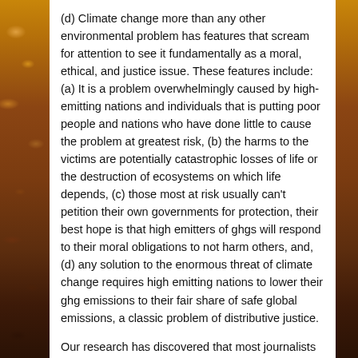(d) Climate change more than any other environmental problem has features that scream for attention to see it fundamentally as a moral, ethical, and justice issue. These features include: (a) It is a problem overwhelmingly caused by high-emitting nations and individuals that is putting poor people and nations who have done little to cause the problem at greatest risk, (b) the harms to the victims are potentially catastrophic losses of life or the destruction of ecosystems on which life depends, (c) those most at risk usually can't petition their own governments for protection, their best hope is that high emitters of ghgs will respond to their moral obligations to not harm others, and, (d) any solution to the enormous threat of climate change requires high emitting nations to lower their ghg emissions to their fair share of safe global emissions, a classic problem of distributive justice.
Our research has discovered that most journalists and national debates about climate policies around the world